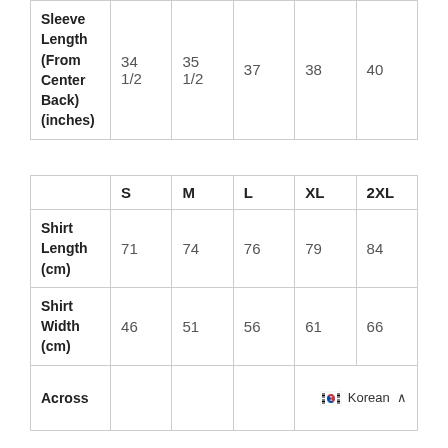|  | S | M | L | XL | 2XL |
| --- | --- | --- | --- | --- | --- |
| Sleeve Length (From Center Back) (inches) | 34 1/2 | 35 1/2 | 37 | 38 | 40 |
|  | S | M | L | XL | 2XL |
| --- | --- | --- | --- | --- | --- |
| Shirt Length (cm) | 71 | 74 | 76 | 79 | 84 |
| Shirt Width (cm) | 46 | 51 | 56 | 61 | 66 |
| Across |  |  |  |  |  |